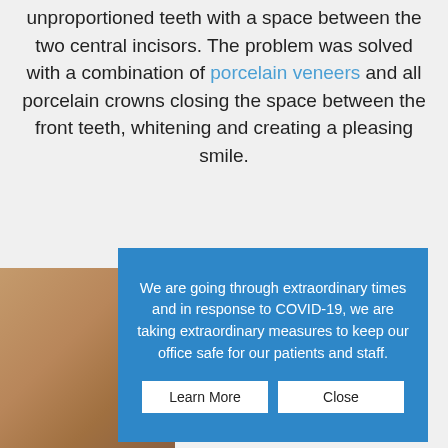Patient had dark short and unproportioned teeth with a space between the two central incisors. The problem was solved with a combination of porcelain veneers and all porcelain crowns closing the space between the front teeth, whitening and creating a pleasing smile.
[Figure (photo): Partial photo of a patient's face/skin, partially obscured by the modal dialog overlay]
We are going through extraordinary times and in response to COVID-19, we are taking extraordinary measures to keep our office safe for our patients and staff.
Learn More | Close